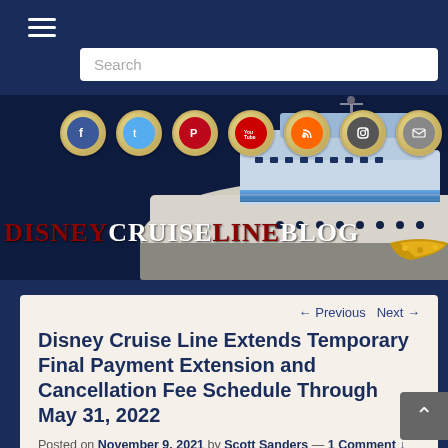[Figure (screenshot): Disney Cruise Line Blog website screenshot showing navigation hamburger menu, search bar, social media icons (Facebook, Twitter, Pinterest, YouTube, RSS, Instagram, Email), cruise ship banner image with DisneyСruiseLineBlog logo, navigation links (← Previous, Next →), article title, posted date/author metadata, and beginning of article body text.]
← Previous   Next →
Disney Cruise Line Extends Temporary Final Payment Extension and Cancellation Fee Schedule Through May 31, 2022
Posted on November 9, 2021 by Scott Sanders — 1 Comment ↓
Today, Disney Cruise Line announced another